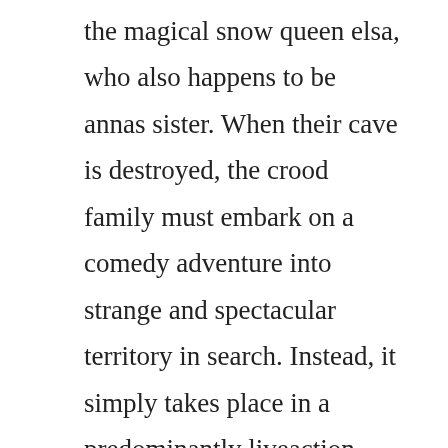the magical snow queen elsa, who also happens to be annas sister. When their cave is destroyed, the crood family must embark on a comedy adventure into strange and spectacular territory in search. Instead, it simply takes place in a predominantly liveaction world where humans and cartoons and cartoon humans coexist on a day to day basis. Catch the buzz as their most outrageous routines and laughoutloud lines from their grammy awardwinning albums come. After their cave is destroyed, a caveman family must trek through an unfamiliar fantastical